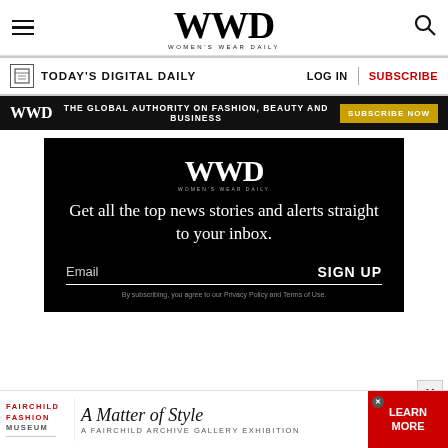WWD WOMEN'S WEAR DAILY
TODAY'S DIGITAL DAILY | LOG IN | SUBSCRIBE
WWD THE GLOBAL AUTHORITY ON FASHION, BEAUTY AND BUSINESS SUBSCRIBE NOW
[Figure (infographic): WWD newsletter signup box on black background. Headline: Get all the top news stories and alerts straight to your inbox. Email field with SIGN UP button. Privacy policy disclaimer text.]
[Figure (infographic): Fairchild Fashion Museum advertisement: A Matter of Style, A Fairchild Archive Gallery Exhibition, with LEARN MORE red button.]